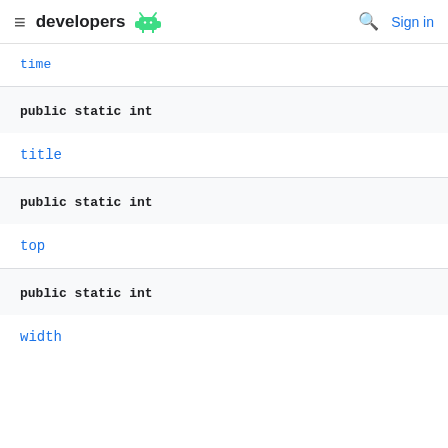developers [android logo] [search] Sign in
time
public static int
title
public static int
top
public static int
width